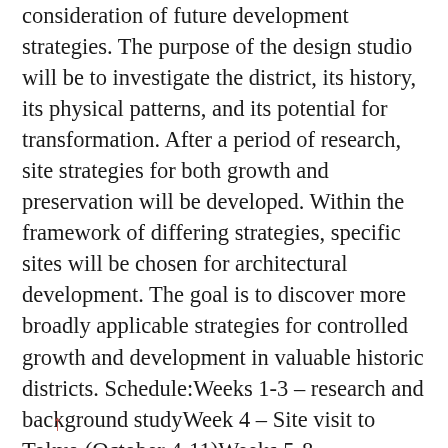consideration of future development strategies. The purpose of the design studio will be to investigate the district, its history, its physical patterns, and its potential for transformation. After a period of research, site strategies for both growth and preservation will be developed. Within the framework of differing strategies, specific sites will be chosen for architectural development. The goal is to discover more broadly applicable strategies for controlled growth and development in valuable historic districts. Schedule:Weeks 1-3 – research and background studyWeek 4 – Site visit to Tokyo (October 4-11)Weeks 5-8 – Development of Site StrategiesWeeks 9-13 – Development of Architectural Proposal